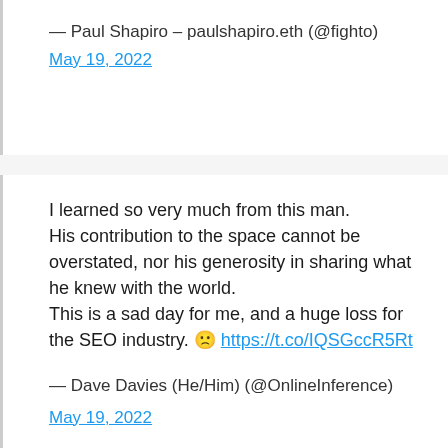— Paul Shapiro – paulshapiro.eth (@fighto)
May 19, 2022
I learned so very much from this man. His contribution to the space cannot be overstated, nor his generosity in sharing what he knew with the world. This is a sad day for me, and a huge loss for the SEO industry. 🙁 https://t.co/IQSGccR5Rt
— Dave Davies (He/Him) (@OnlineInference)
May 19, 2022